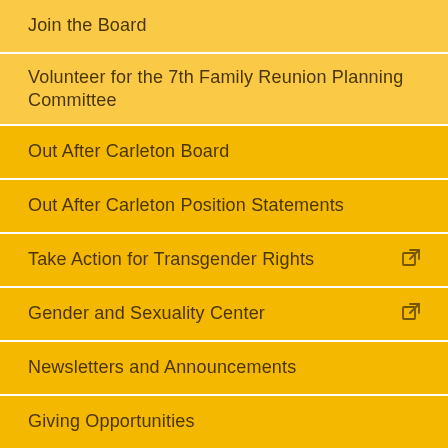Join the Board
Volunteer for the 7th Family Reunion Planning Committee
Out After Carleton Board
Out After Carleton Position Statements
Take Action for Transgender Rights
Gender and Sexuality Center
Newsletters and Announcements
Giving Opportunities
Carleton LGBTQIA+ History